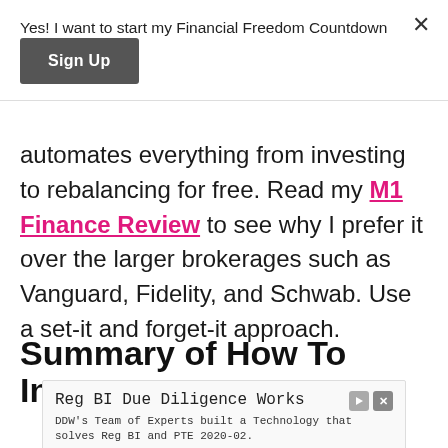Yes! I want to start my Financial Freedom Countdown
Sign Up
automates everything from investing to rebalancing for free. Read my M1 Finance Review to see why I prefer it over the larger brokerages such as Vanguard, Fidelity, and Schwab. Use a set-it and forget-it approach.
Summary of How To Invest
[Figure (other): Advertisement banner: Reg BI Due Diligence Works. DDW's Team of Experts built a Technology that solves Reg BI and PTE 2020-02. info.duediligenceworks.com. Learn More button.]